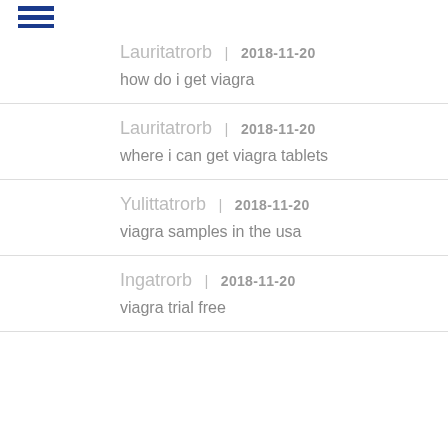Lauritatrorb | 2018-11-20
how do i get viagra
Lauritatrorb | 2018-11-20
where i can get viagra tablets
Yulittatrorb | 2018-11-20
viagra samples in the usa
Ingatrorb | 2018-11-20
viagra trial free